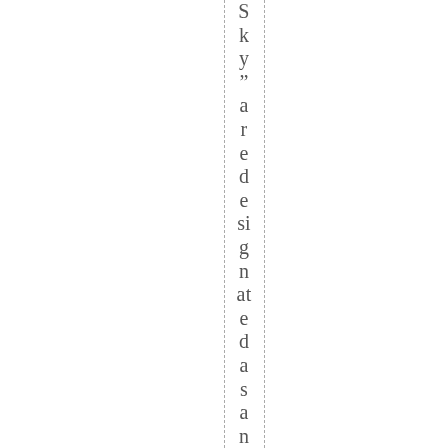Sky” are designated as an Area of Crit